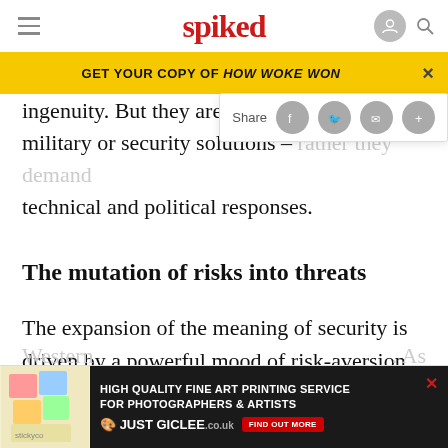spiked
GET YOUR COPY OF HOW WOKE WON
ingenuity. But they are not pro military or security solutions – rather they demand technical and political responses.
The mutation of risks into threats
The expansion of the meaning of security is driven by a powerful mood of risk-aversion. Today, uncertainty is looked upon with dread. Instead of regarding future uncertainties as a source of new opportunities, the
[Figure (screenshot): High Quality Fine Art Printing Service for Photographers & Artists - Just Giclee advertisement banner at bottom of page]